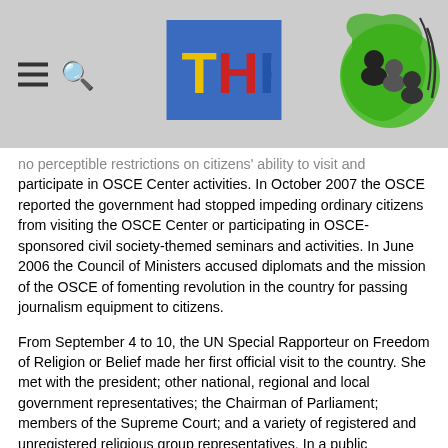THF logo header with navigation icons
no perceptible restrictions on citizens' ability to visit and participate in OSCE Center activities. In October 2007 the OSCE reported the government had stopped impeding ordinary citizens from visiting the OSCE Center or participating in OSCE-sponsored civil society-themed seminars and activities. In June 2006 the Council of Ministers accused diplomats and the mission of the OSCE of fomenting revolution in the country for passing journalism equipment to citizens.
From September 4 to 10, the UN Special Rapporteur on Freedom of Religion or Belief made her first official visit to the country. She met with the president; other national, regional and local government representatives; the Chairman of Parliament; members of the Supreme Court; and a variety of registered and unregistered religious group representatives. In a public statement, the rapporteur encouraged the government to revise its Law on Religion to bring it into greater